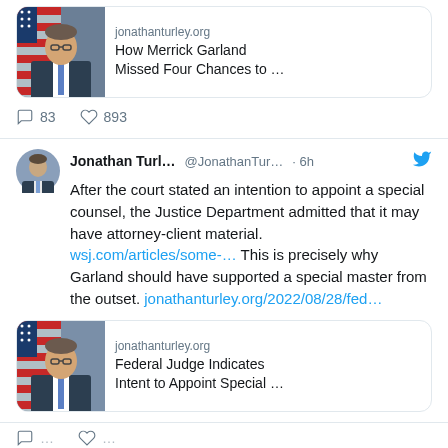[Figure (screenshot): Twitter/X screenshot showing two tweets by Jonathan Turley about Merrick Garland and a special counsel appointment]
jonathanturley.org
How Merrick Garland Missed Four Chances to …
83 comments  893 likes
Jonathan Turl... @JonathanTur... · 6h
After the court stated an intention to appoint a special counsel, the Justice Department admitted that it may have attorney-client material. wsj.com/articles/some-… This is precisely why Garland should have supported a special master from the outset. jonathanturley.org/2022/08/28/fed…
jonathanturley.org
Federal Judge Indicates Intent to Appoint Special …